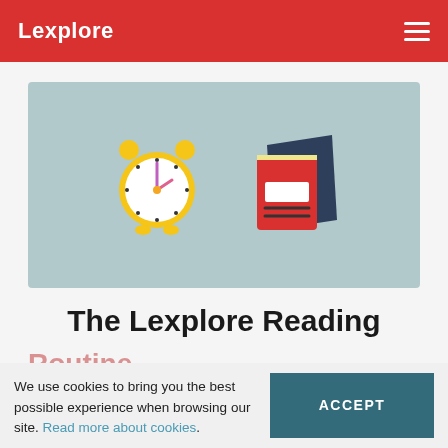Lexplore
[Figure (illustration): A yellow alarm clock and a red/dark-blue book icon on a teal/light-blue background banner]
The Lexplore Reading
We use cookies to bring you the best possible experience when browsing our site. Read more about cookies. ACCEPT
As parents, your role in your chi...
will naturally ov...